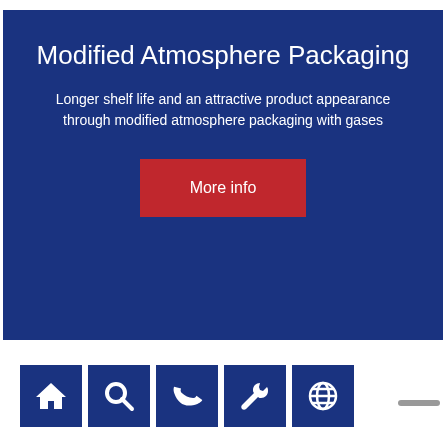Modified Atmosphere Packaging
Longer shelf life and an attractive product appearance through modified atmosphere packaging with gases
[Figure (infographic): Red 'More info' button on dark blue banner background]
[Figure (infographic): Navigation bar with 5 dark blue icon buttons: home, search, phone, wrench/tool, globe; and a grey scroll indicator on the right]